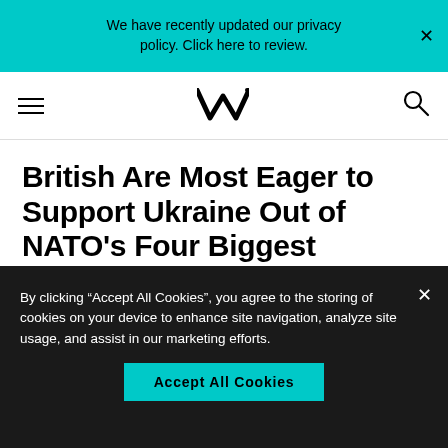We have recently updated our privacy policy. Click here to review.
[Figure (logo): MV logo (stylized M with checkmark) and hamburger menu and search icon navigation bar]
British Are Most Eager to Support Ukraine Out of NATO’s Four Biggest Economies
The British are more likely to say their country has a responsibility to protect Ukraine and back
By clicking “Accept All Cookies”, you agree to the storing of cookies on your device to enhance site navigation, analyze site usage, and assist in our marketing efforts.